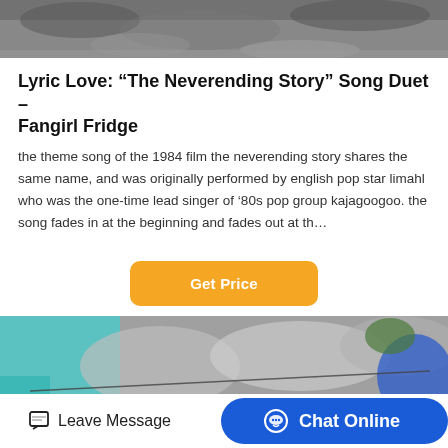[Figure (photo): Top portion of an outdoor rocky/gravel construction site photo, cropped at top of page]
Lyric Love: “The Neverending Story” Song Duet – Fangirl Fridge
the theme song of the 1984 film the neverending story shares the same name, and was originally performed by english pop star limahl who was the one-time lead singer of ‘80s pop group kajagoogoo. the song fades in at the beginning and fades out at th…
[Figure (other): Get Price orange button]
[Figure (photo): Outdoor rocky construction/demolition site with teal netting, rubble, concrete blocks, and a blue tarp]
Leave Message   Chat Online